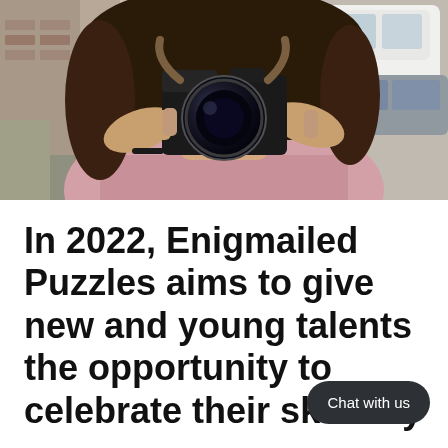[Figure (photo): A young woman holding a vintage film camera up to her face, photographing the viewer. She has long dark hair, wears a pink shirt, and has a brown camera strap around her neck. The background shows a street with cars parked.]
In 2022, Enigmailed Puzzles aims to give new and young talents the opportunity to celebrate their skills by